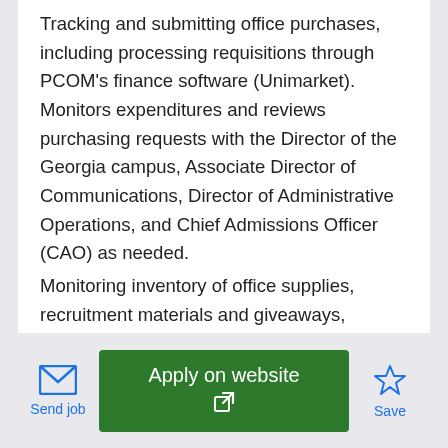Tracking and submitting office purchases, including processing requisitions through PCOM's finance software (Unimarket). Monitors expenditures and reviews purchasing requests with the Director of the Georgia campus, Associate Director of Communications, Director of Administrative Operations, and Chief Admissions Officer (CAO) as needed.
Monitoring inventory of office supplies, recruitment materials and giveaways, submitting order requests and restocking supply storage areas as needed.
Acquiring quotes from vendors for departmental
Send job | Apply on website | Save